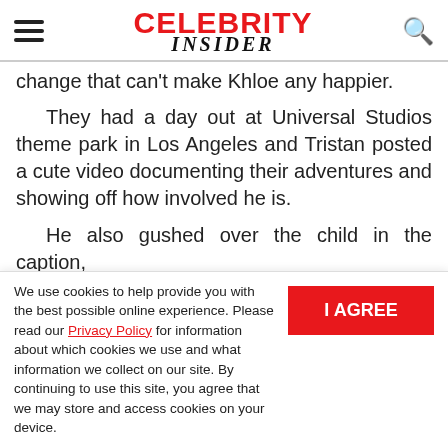Celebrity Insider (logo with hamburger menu and search icon)
change that can't make Khloe any happier.
They had a day out at Universal Studios theme park in Los Angeles and Tristan posted a cute video documenting their adventures and showing off how involved he is.
He also gushed over the child in the caption, saying that while he usually chooses to keep his
We use cookies to help provide you with the best possible online experience. Please read our Privacy Policy for information about which cookies we use and what information we collect on our site. By continuing to use this site, you agree that we may store and access cookies on your device.
I AGREE